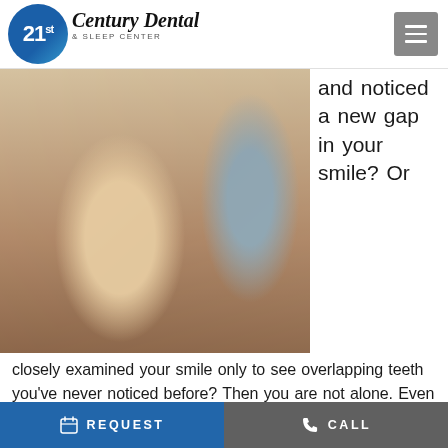[Figure (logo): 21st Century Dental & Sleep Center logo — circular blue badge with '21st' text, beside italic serif text 'Century Dental & Sleep Center']
[Figure (photo): Dental office photo showing a patient reclining in a dental chair while a dentist in a blue-gray outfit examines them]
and noticed a new gap in your smile? Or closely examined your smile only to see overlapping teeth you've never noticed before? Then you are not alone. Even if you have had braces before, you may notice that your once straight teeth are starting to shift into a new position. Your dentist in Irving shares four common causes and how to prevent it from happening to you!
REQUEST    CALL